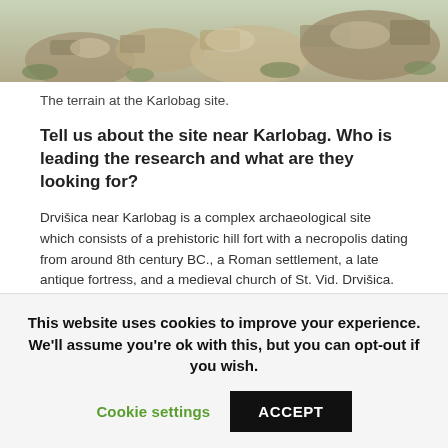[Figure (photo): Rocky terrain at the Karlobag archaeological site, showing limestone rocks and sparse vegetation.]
The terrain at the Karlobag site.
Tell us about the site near Karlobag. Who is leading the research and what are they looking for?
Drvišica near Karlobag is a complex archaeological site which consists of a prehistoric hill fort with a necropolis dating from around 8th century BC., a Roman settlement, a late antique fortress, and a medieval church of St. Vid. Drvišica. It's situated on the Adriatic coast near Karlobag, below Velebit mountain. It is the biggest site of that type in Velebit area.
Due to its specific geomorphologic and climatologic characteristics, Velebit is extremely difficult for ground reconnaissance. Navigating sharp fissures and Mediterranean scrub vegetation require great physical effort which very much
This website uses cookies to improve your experience. We'll assume you're ok with this, but you can opt-out if you wish.